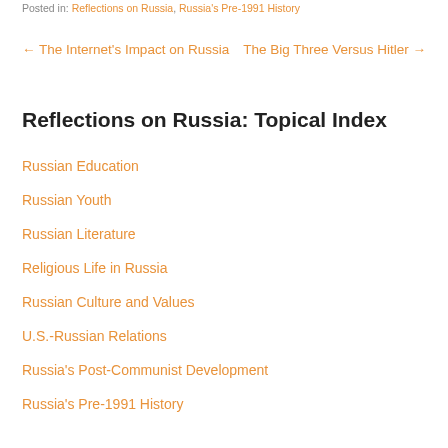Posted in: Reflections on Russia, Russia's Pre-1991 History
← The Internet's Impact on Russia    The Big Three Versus Hitler →
Reflections on Russia: Topical Index
Russian Education
Russian Youth
Russian Literature
Religious Life in Russia
Russian Culture and Values
U.S.-Russian Relations
Russia's Post-Communist Development
Russia's Pre-1991 History